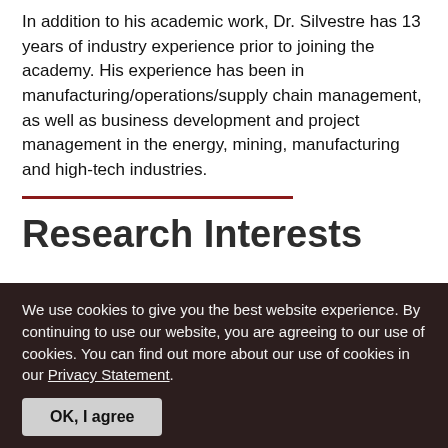In addition to his academic work, Dr. Silvestre has 13 years of industry experience prior to joining the academy. His experience has been in manufacturing/operations/supply chain management, as well as business development and project management in the energy, mining, manufacturing and high-tech industries.
Research Interests
We use cookies to give you the best website experience. By continuing to use our website, you are agreeing to our use of cookies. You can find out more about our use of cookies in our Privacy Statement.